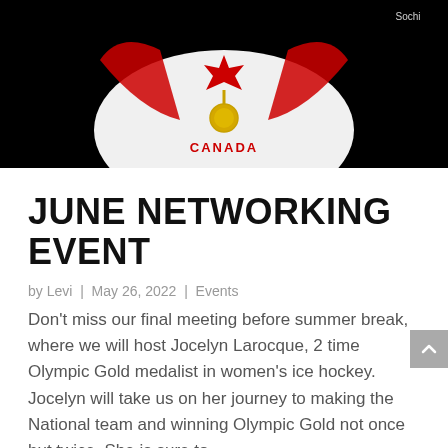[Figure (photo): Person wearing a white Canada national hockey team jersey with red maple leaf, holding a gold Olympic medal. Sochi Olympics branding visible in background. Dark/black background.]
JUNE NETWORKING EVENT
by Levi | May 26, 2022 | Events
Don't miss our final meeting before summer break, where we will host Jocelyn Larocque, 2 time Olympic Gold medalist in women's ice hockey. Jocelyn will take us on her journey to making the National team and winning Olympic Gold not once but twice. She is sure to...